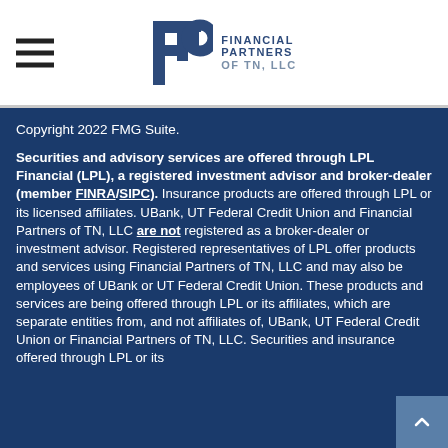Financial Partners of TN, LLC
Copyright 2022 FMG Suite.
Securities and advisory services are offered through LPL Financial (LPL), a registered investment advisor and broker-dealer (member FINRA/SIPC).  Insurance products are offered through LPL or its licensed affiliates. UBank, UT Federal Credit Union and Financial Partners of TN, LLC are not registered as a broker-dealer or investment advisor. Registered representatives of LPL offer products and services using Financial Partners of TN, LLC and may also be employees of UBank or UT Federal Credit Union.  These products and services are being offered through LPL or its affiliates, which are separate entities from, and not affiliates of, UBank, UT Federal Credit Union or Financial Partners of TN, LLC. Securities and insurance offered through LPL or its